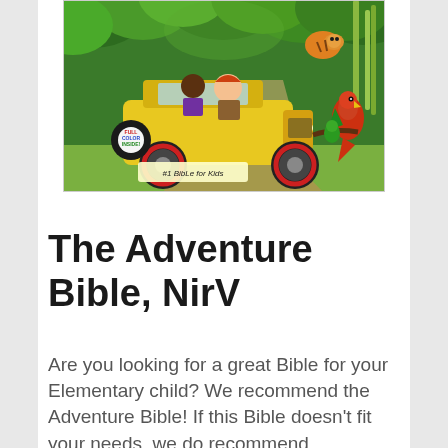[Figure (illustration): Book cover of 'The Adventure Bible, NirV' showing two children in a yellow jeep driving through a jungle with a parrot on a branch, a tiger in the background, and text '#1 Bible for Kids' and 'Full Color Inside!']
The Adventure Bible, NirV
Are you looking for a great Bible for your Elementary child? We recommend the Adventure Bible! If this Bible doesn't fit your needs, we do recommend